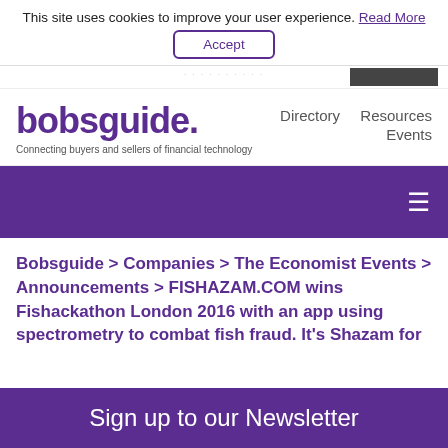This site uses cookies to improve your user experience. Read More
Accept
[Figure (screenshot): Ad banner strip with image on right side]
bobsguide.
Connecting buyers and sellers of financial technology
Directory  Resources  Events
[Figure (infographic): Purple navigation bar with hamburger menu icon]
Bobsguide > Companies > The Economist Events > Announcements > FISHAZAM.COM wins Fishackathon London 2016 with an app using spectrometry to combat fish fraud. It's Shazam for
Sign up to our Newsletter